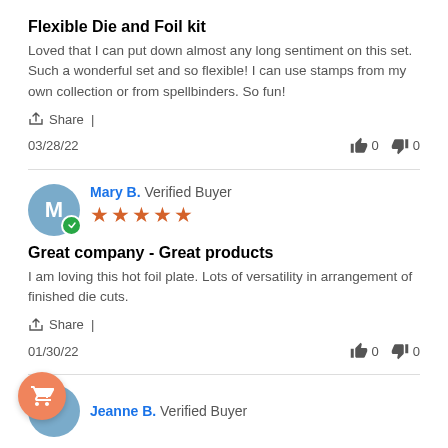Flexible Die and Foil kit
Loved that I can put down almost any long sentiment on this set. Such a wonderful set and so flexible! I can use stamps from my own collection or from spellbinders. So fun!
Share |
03/28/22   👍 0   👎 0
Mary B. Verified Buyer ★★★★★
Great company - Great products
I am loving this hot foil plate. Lots of versatility in arrangement of finished die cuts.
Share |
01/30/22   👍 0   👎 0
Jeanne B. Verified Buyer